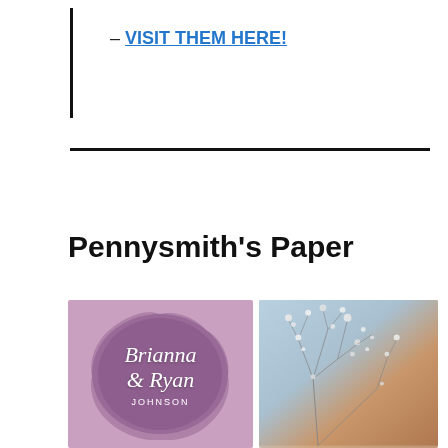– VISIT THEM HERE!
Pennysmith's Paper
[Figure (photo): Two images side by side: left shows a purple watercolor wedding invitation card with script text 'Brianna & Ryan JOHNSON'; right shows a blurred floral photo with white baby's breath flowers against a warm orange background.]